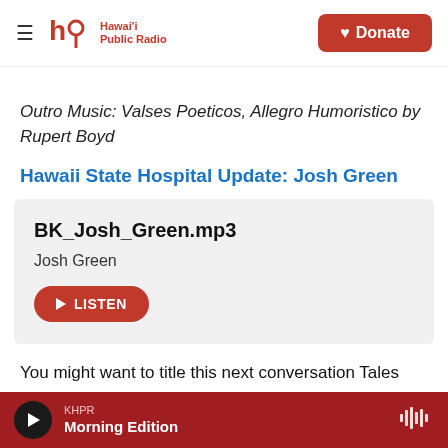Hawai'i Public Radio — Donate
Outro Music: Valses Poeticos, Allegro Humoristico by Rupert Boyd
Hawaii State Hospital Update: Josh Green
BK_Josh_Green.mp3
Josh Green
[LISTEN]
You might want to title this next conversation Tales
KHPR Morning Edition